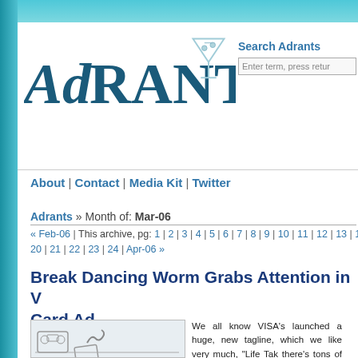[Figure (logo): AdRANTs logo with martini glass graphic in teal/blue colors]
Search Adrants
Enter term, press retur
About | Contact | Media Kit | Twitter
Adrants » Month of: Mar-06
« Feb-06 | This archive, pg: 1 | 2 | 3 | 4 | 5 | 6 | 7 | 8 | 9 | 10 | 11 | 12 | 13 | 14 ... 20 | 21 | 22 | 23 | 24 | Apr-06 »
Break Dancing Worm Grabs Attention in V Card Ad
[Figure (illustration): Sketch/line drawing of a boombox and what appears to be a worm or figure dancing near a VISA card on the ground]
We all know VISA's launched a huge, new tagline, which we like very much, "Life Tak there's tons of TV spots supporting this ca we saw a couple nights ago, just seemed crown. It's called Worm/Recycling and sor what it is at first as it begins with line breakdancing to electronica before it be